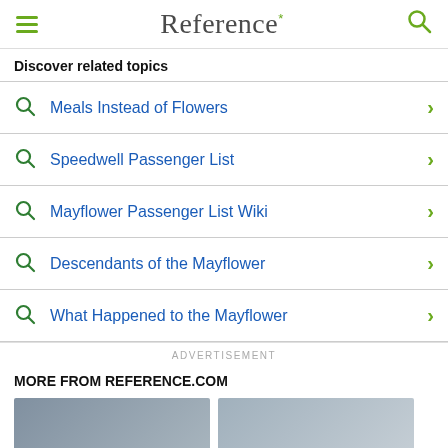Reference*
Discover related topics
Meals Instead of Flowers
Speedwell Passenger List
Mayflower Passenger List Wiki
Descendants of the Mayflower
What Happened to the Mayflower
ADVERTISEMENT
MORE FROM REFERENCE.COM
[Figure (photo): Two thumbnail images at the bottom of the page]